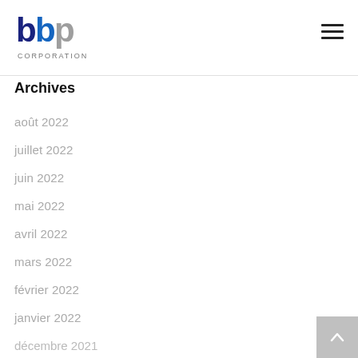[Figure (logo): bbp Corporation logo with blue and grey letters]
Archives
août 2022
juillet 2022
juin 2022
mai 2022
avril 2022
mars 2022
février 2022
janvier 2022
décembre 2021